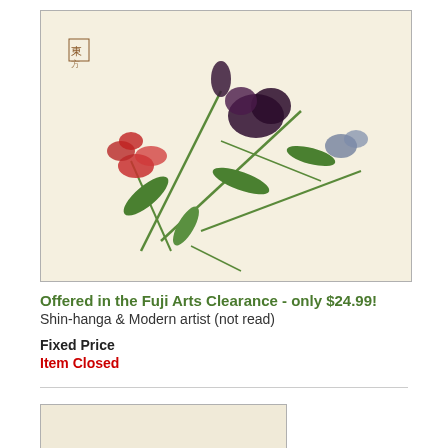[Figure (illustration): Japanese woodblock print style artwork showing red and dark purple iris/lily flowers with green stems and leaves, with small Japanese characters/seal in upper left. Beige/cream background.]
Offered in the Fuji Arts Clearance - only $24.99!
Shin-hanga & Modern artist (not read)
Fixed Price
Item Closed
[Figure (illustration): Japanese woodblock print style artwork showing brown/sepia toned flowers with long grass leaves, possibly orchids or irises. Small Japanese seal in left side. Cream/beige background with visible paper texture.]
Offered in the Fuji Arts Clearance - only $24.99!